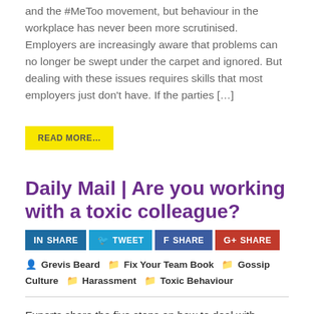and the #MeToo movement, but behaviour in the workplace has never been more scrutinised. Employers are increasingly aware that problems can no longer be swept under the carpet and ignored. But dealing with these issues requires skills that most employers just don't have. If the parties […]
READ MORE…
Daily Mail | Are you working with a toxic colleague?
[Figure (other): Social share buttons: LinkedIn SHARE, Twitter TWEET, Facebook SHARE, Google+ SHARE]
Grevis Beard   Fix Your Team Book   Gossip Culture   Harassment   Toxic Behaviour
Experts share the five steps on how to deal with difficult co-workers – and why you should never try to beat them at their own game Anyone working full time